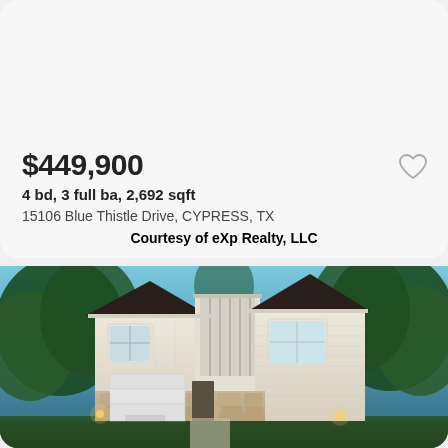$449,900
4 bd, 3 full ba, 2,692 sqft
15106 Blue Thistle Drive, CYPRESS, TX
Courtesy of eXp Realty, LLC
[Figure (photo): Two-story new construction home with white/cream siding, dark shingle roof, stone/brick lower facade, garage door, and landscaping lights at dusk with trees in background]